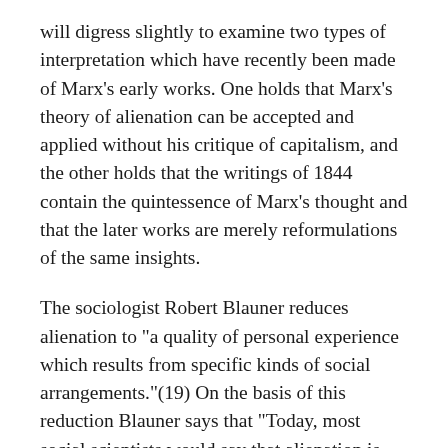will digress slightly to examine two types of interpretation which have recently been made of Marx's early works. One holds that Marx's theory of alienation can be accepted and applied without his critique of capitalism, and the other holds that the writings of 1844 contain the quintessence of Marx's thought and that the later works are merely reformulations of the same insights.
The sociologist Robert Blauner reduces alienation to "a quality of personal experience which results from specific kinds of social arrangements."(19) On the basis of this reduction Blauner says that "Today, most social scientists would say that alienation is not a consequence of capitalism per se but of employment in the large-scale organizations and impersonal bureaucracies that pervade all industrial societies."(20)